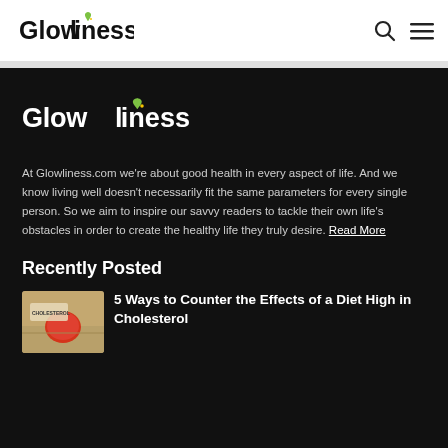Glowliness [nav logo with search and menu icons]
[Figure (logo): Glowliness logo large in dark section with leaf icon above the letter i]
At Glowliness.com we're about good health in every aspect of life. And we know living well doesn't necessarily fit the same parameters for every single person. So we aim to inspire our savvy readers to tackle their own life's obstacles in order to create the healthy life they truly desire. Read More
Recently Posted
[Figure (photo): Thumbnail image of cholesterol-related food items on a beige background]
5 Ways to Counter the Effects of a Diet High in Cholesterol